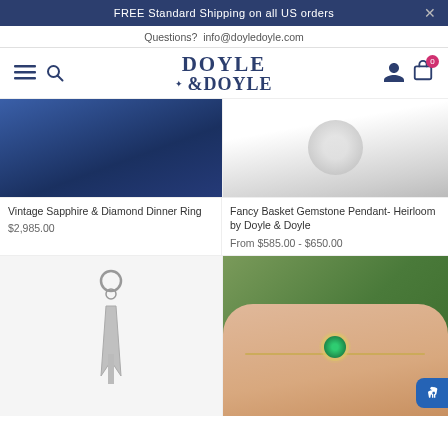FREE Standard Shipping on all US orders
Questions?  info@doyledoyle.com
[Figure (logo): Doyle & Doyle logo with compass star icon]
[Figure (photo): Vintage Sapphire & Diamond Dinner Ring product image — dark blue velvet background]
[Figure (photo): Fancy Basket Gemstone Pendant product image — gemstone on light background]
Vintage Sapphire & Diamond Dinner Ring
$2,985.00
Fancy Basket Gemstone Pendant- Heirloom by Doyle & Doyle
From $585.00 - $650.00
[Figure (photo): Silver arrow/lightning bolt charm pendant product image on white background]
[Figure (photo): Emerald and diamond bracelet worn on wrist against green background]